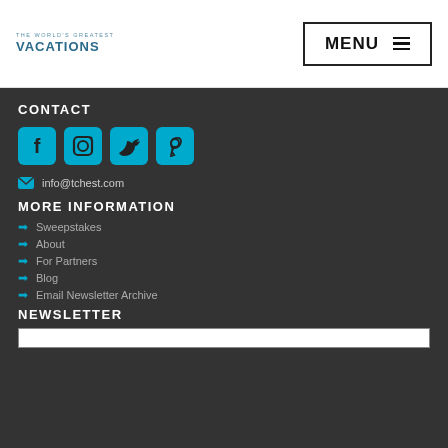THE WORLD'S GREATEST VACATIONS | MENU
CONTACT
[Figure (illustration): Four social media icon buttons: Facebook, Instagram, Twitter, Pinterest — cyan/blue rounded squares]
info@tchest.com
MORE INFORMATION
Sweepstakes
About
For Partners
Blog
Email Newsletter Archive
NEWSLETTER